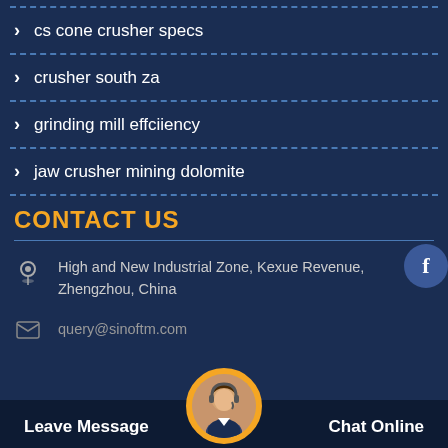cs cone crusher specs
crusher south za
grinding mill effciiency
jaw crusher mining dolomite
CONTACT US
High and New Industrial Zone, Kexue Revenue, Zhengzhou, China
query@sinoftm.com
Leave Message
Chat Online